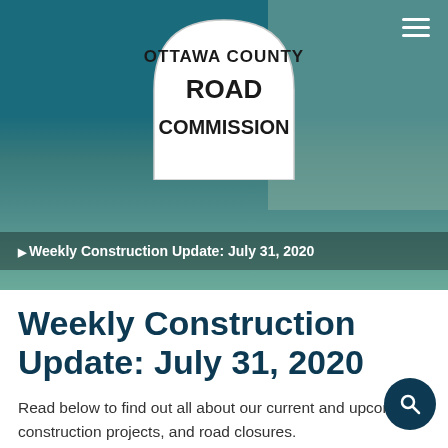[Figure (logo): Ottawa County Road Commission logo badge — arch-shaped white sign with bold black text reading OTTAWA COUNTY ROAD COMMISSION, set against a teal/blue-grey header photo of a concrete overpass and building]
Weekly Construction Update: July 31, 2020
Weekly Construction Update: July 31, 2020
Read below to find out all about our current and upcoming construction projects, and road closures.
You can view a list of all of our construction projects for the season, see our interactive